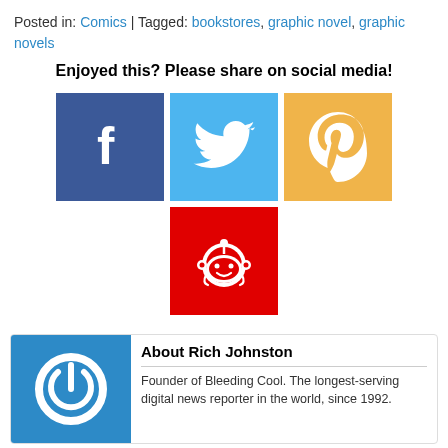Posted in: Comics | Tagged: bookstores, graphic novel, graphic novels
Enjoyed this? Please share on social media!
[Figure (infographic): Social media sharing buttons: Facebook (dark blue), Twitter (light blue), Pinterest (orange/gold), Reddit (red)]
About Rich Johnston
Founder of Bleeding Cool. The longest-serving digital news reporter in the world, since 1992.